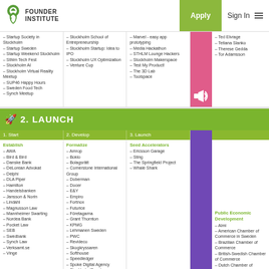Founder Institute | Apply | Sign In
- Startup Society in Stockholm
- Startup Sweden
- Startup Weekend Stockholm
- Sthlm Tech Fest
- Stockholm AI
- Stockholm Virtual Reality Meetup
- SUP46 Happy Hours
- Sweden Food Tech
- Synch Meetup
- Stockholm School of Entrepreneurship
- Stockholm Startup: Idea to IPO
- Stockholm UX Optimization
- Venture Cup
- Marvel - easy app prototyping
- Media Hackathon
- STHLM Lounge Hackers
- Stockholm Makerspace
- Test My Product!
- The 3D Lab
- Toolspace
- Ted Elvrage
- Tetiana Slanko
- Therese Gedda
- Tor Adamsson
2. LAUNCH
1. Start | 2. Develop | 3. Launch
Establish
- AWA
- Bird & Bird
- Danske Bank
- DeLorean Advokat
- Delphi
- DLA Piper
- Hamilton
- Handelsbanken
- Jansson & Norin
- Lindahl
- Magnusson Law
- Mannheimer Swarting
- Nordea Bank
- Pocket Law
- SEB
- Swedbank
- Synch Law
- Verksamt.se
- Vinge
Formalize
- Amrop
- Bokio
- Bolagsrätt
- Cornerstone International Group
- Doberman
- Docer
- E&Y
- Empiro
- Fortnox
- Futurice
- Företagarna
- Grant Thornton
- KPMG
- Lehmanen Sweden
- PWC
- Revideco
- Skogkryssaren
- Softhouse
- Speedledger
- Spoke Digital Agency
- Stockholm/Sweden
- The Books
- Varvet
- Winr
Seed Accelerators
- Ericsson Garage
- Sting
- The Springfield Project
- Whale Shark
Public Economic Development
- Almi
- American Chamber of Commerce in Sweden
- Brazilian Chamber of Commerce
- British-Swedish Chamber of Commerce
- Dutch Chamber of Commerce